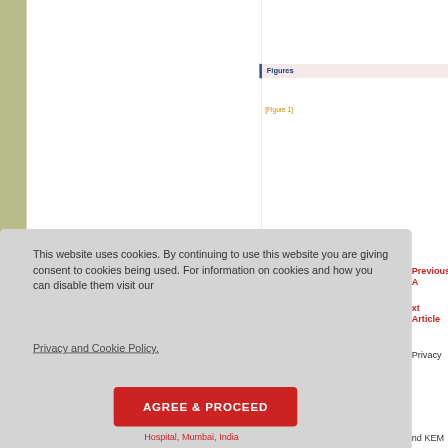Figures
[Figure 1]
This website uses cookies. By continuing to use this website you are giving consent to cookies being used. For information on cookies and how you can disable them visit our
Privacy and Cookie Policy.
AGREE & PROCEED
Hospital, Mumbai, India